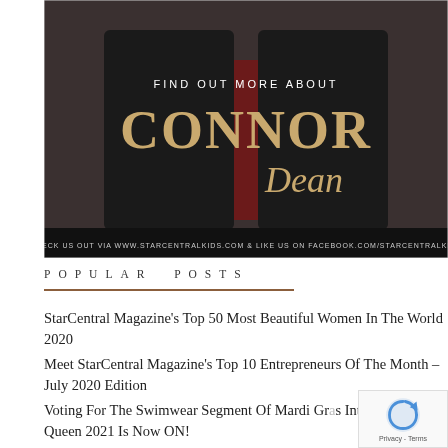[Figure (photo): Promotional image for Connor Dean on StarCentral Kids. Dark background with a person in black leather jacket and red outfit. Text overlay: 'FIND OUT MORE ABOUT CONNOR Dean'. Bottom banner: 'CHECK US OUT VIA WWW.STARCENTRALKIDS.COM & LIKE US ON FACEBOOK.COM/STARCENTRALKIDS']
POPULAR POSTS
StarCentral Magazine's Top 50 Most Beautiful Women In The World 2020
Meet StarCentral Magazine's Top 10 Entrepreneurs Of The Month – July 2020 Edition
Voting For The Swimwear Segment Of Mardi Gras International Queen 2021 Is Now ON!
Voting For The National Costume Segment Of...